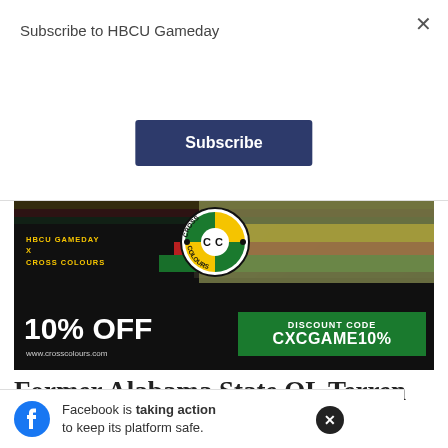Subscribe to HBCU Gameday
Subscribe
[Figure (illustration): Cross Colours brand advertisement banner: HBCU Gameday x Cross Colours, 10% OFF, discount code CXCGAME10%, www.crosscolours.com]
Former Alabama State OL Terren Jones to work out for Atlanta Falcons Friday
Facebook is taking action to keep its platform safe.